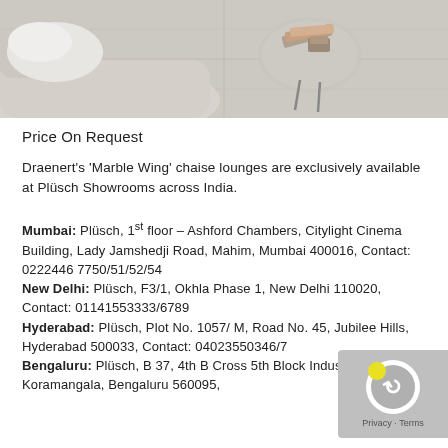[Figure (photo): Overhead view of a light grey sofa/chaise lounge with a white fluffy throw, and a round glass side table with books/decorative items on a light marble tile floor.]
Price On Request
Draenert's 'Marble Wing' chaise lounges are exclusively available at Plüsch Showrooms across India.
Mumbai: Plüsch, 1st floor – Ashford Chambers, Citylight Cinema Building, Lady Jamshedji Road, Mahim, Mumbai 400016, Contact: 0222446 7750/51/52/54
New Delhi: Plüsch, F3/1, Okhla Phase 1, New Delhi 110020, Contact: 01141553333/6789
Hyderabad: Plüsch, Plot No. 1057/ M, Road No. 45, Jubilee Hills, Hyderabad 500033, Contact: 04023550346/7
Bengaluru: Plüsch, B 37, 4th B Cross 5th Block Industrial Layout, Koramangala, Bengaluru 560095,